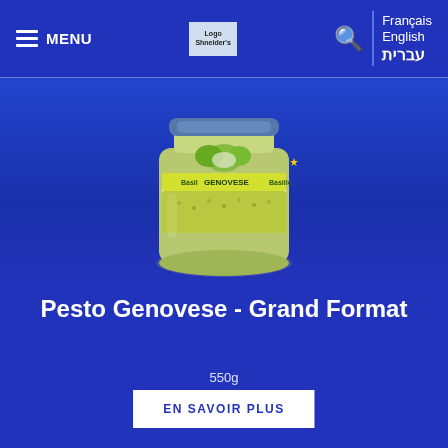MENU | Logo Shneider's | 🔍 | Français English עברית
[Figure (photo): A jar of Genovese Pesto with basil leaves on the label, green pesto visible through the glass]
Pesto Genovese - Grand Format
550g
EN SAVOIR PLUS